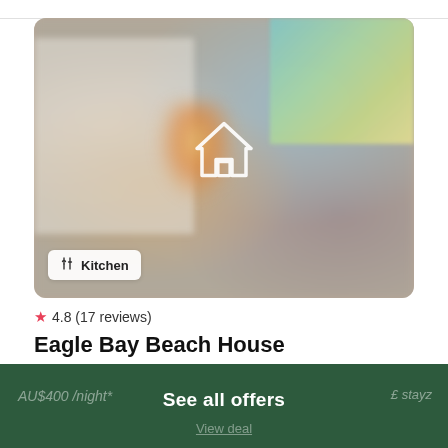[Figure (photo): Blurred interior photo of a beach house living room with a white wall on the left, teal/green artwork in the upper right, warm lamp glow in the center, and a purple sofa. A white house icon is overlaid in the center. A 'Kitchen' badge with a fork/knife icon is in the lower left of the image.]
4.8 (17 reviews)
Eagle Bay Beach House
house · 10 Guests · 4 Bedrooms
AU$400 /night*
See all offers
£ stayz
View deal